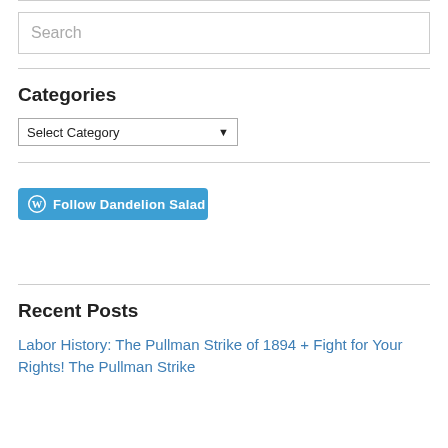Search
Categories
Select Category
[Figure (other): Follow Dandelion Salad button with WordPress icon]
Recent Posts
Labor History: The Pullman Strike of 1894 + Fight for Your Rights! The Pullman Strike